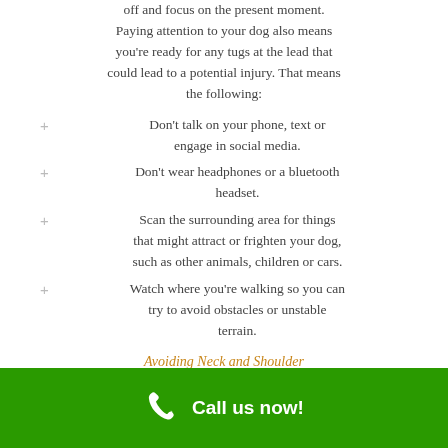off and focus on the present moment. Paying attention to your dog also means you're ready for any tugs at the lead that could lead to a potential injury. That means the following:
Don't talk on your phone, text or engage in social media.
Don't wear headphones or a bluetooth headset.
Scan the surrounding area for things that might attract or frighten your dog, such as other animals, children or cars.
Watch where you're walking so you can try to avoid obstacles or unstable terrain.
Avoiding Neck and Shoulder
Call us now!